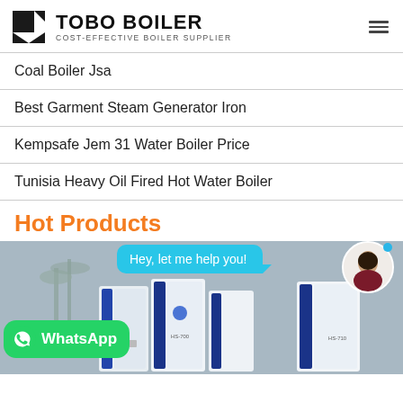TOBO BOILER - COST-EFFECTIVE BOILER SUPPLIER
Coal Boiler Jsa
Best Garment Steam Generator Iron
Kempsafe Jem 31 Water Boiler Price
Tunisia Heavy Oil Fired Hot Water Boiler
Hot Products
[Figure (screenshot): Chat assistant bubble saying 'Hey, let me help you!' with avatar, WhatsApp button, and boiler product image in background]